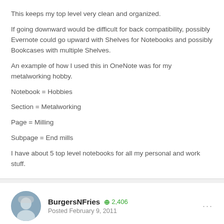This keeps my top level very clean and organized.
If going downward would be difficult for back compatibility, possibly Evernote could go upward with Shelves for Notebooks and possibly Bookcases with multiple Shelves.
An example of how I used this in OneNote was for my metalworking hobby.
Notebook = Hobbies
Section = Metalworking
Page = Milling
Subpage = End mills
I have about 5 top level notebooks for all my personal and work stuff.
BurgersNFries  +2,406  Posted February 9, 2011